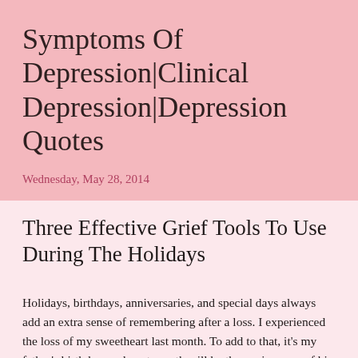Symptoms Of Depression|Clinical Depression|Depression Quotes
Wednesday, May 28, 2014
Three Effective Grief Tools To Use During The Holidays
Holidays, birthdays, anniversaries, and special days always add an extra sense of remembering after a loss. I experienced the loss of my sweetheart last month. To add to that, it's my father's birthday, and next month will be the anniversary of his death. The two heroes in my life.